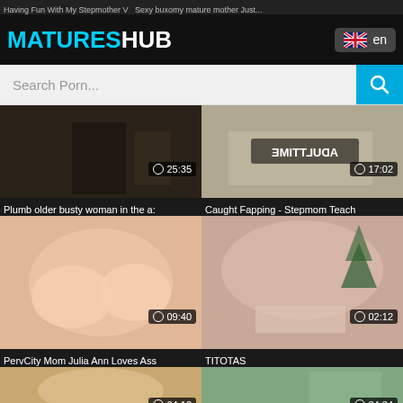Having Fun With My Stepmother V Sexy buxomy mature mother Just...
MATURESHUB
en
Search Porn...
[Figure (screenshot): Video thumbnail - dark indoor scene, duration 25:35]
Plumb older busty woman in the a:
[Figure (screenshot): Video thumbnail - AdultTime watermark, 17:02]
Caught Fapping - Stepmom Teach
[Figure (screenshot): Video thumbnail - blonde woman, 09:40]
PervCity Mom Julia Ann Loves Ass
[Figure (screenshot): Video thumbnail - close up, 02:12]
TITOTAS
[Figure (screenshot): Video thumbnail - blonde woman indoors, 04:12]
[Figure (screenshot): Video thumbnail - car scene, 34:34]